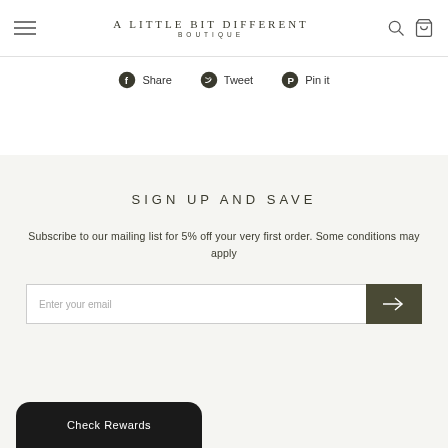A LITTLE BIT DIFFERENT BOUTIQUE
Share  Tweet  Pin it
SIGN UP AND SAVE
Subscribe to our mailing list for 5% off your very first order. Some conditions may apply
Enter your email
Check Rewards